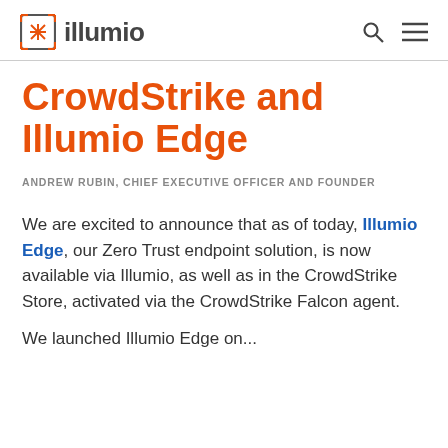illumio
CrowdStrike and Illumio Edge
ANDREW RUBIN, CHIEF EXECUTIVE OFFICER AND FOUNDER
We are excited to announce that as of today, Illumio Edge, our Zero Trust endpoint solution, is now available via Illumio, as well as in the CrowdStrike Store, activated via the CrowdStrike Falcon agent.
We launched Illumio Edge on...